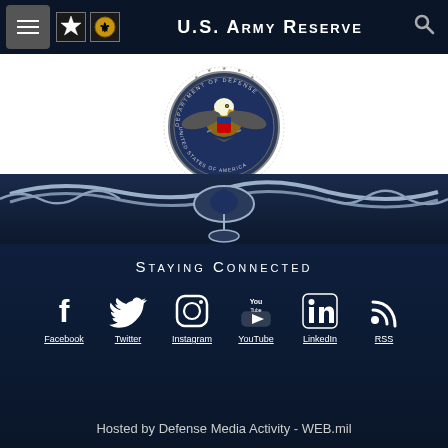U.S. Army Reserve
[Figure (logo): Department of Defense seal with eagle, shield, and stars in circular design, with ornamental banner, displayed on white background with gold bar]
Staying Connected
Facebook | Twitter | Instagram | YouTube | LinkedIn | RSS
Hosted by Defense Media Activity - WEB.mil